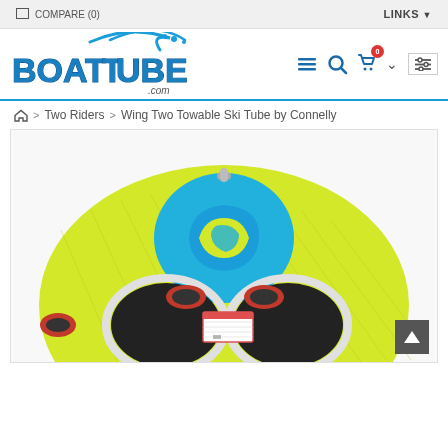COMPARE (0)    LINKS
[Figure (logo): BoatTube.com logo with blue metallic 3D bubble text and water splash graphic above]
🏠 > Two Riders > Wing Two Towable Ski Tube by Connelly
[Figure (photo): Top-down view of a yellow and blue inflatable towable ski tube (Wing Two by Connelly) showing two black seat holes with red padded handles and a blue swirl graphic on top]